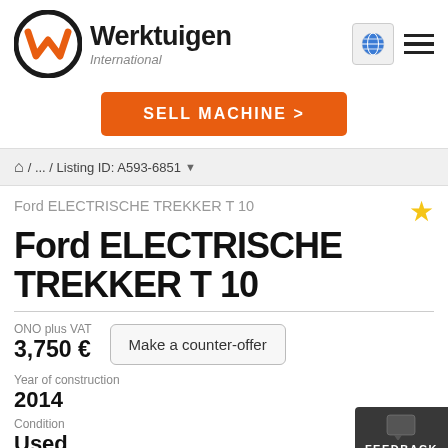[Figure (logo): Werktuigen International logo with orange W in circle and black text]
SELL MACHINE >
/ ... / Listing ID: A593-6851
Ford ELECTRISCHE TREKKER T 10
Ford ELECTRISCHE TREKKER T 10
ONO plus VAT
3,750 €
Make a counter-offer
Year of construction
2014
Condition
Used
FEEDBACK